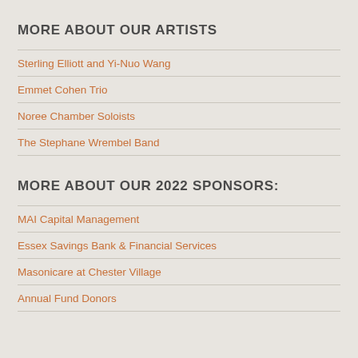MORE ABOUT OUR ARTISTS
Sterling Elliott and Yi-Nuo Wang
Emmet Cohen Trio
Noree Chamber Soloists
The Stephane Wrembel Band
MORE ABOUT OUR 2022 SPONSORS:
MAI Capital Management
Essex Savings Bank & Financial Services
Masonicare at Chester Village
Annual Fund Donors